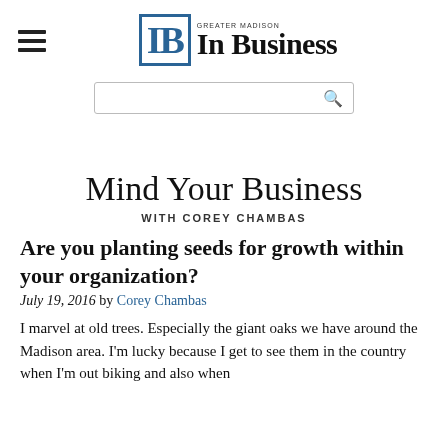IB Greater Madison In Business
Mind Your Business
WITH COREY CHAMBAS
Are you planting seeds for growth within your organization?
July 19, 2016 by Corey Chambas
I marvel at old trees. Especially the giant oaks we have around the Madison area. I'm lucky because I get to see them in the country when I'm out biking and also when